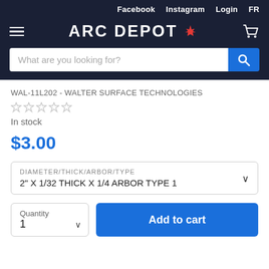Facebook  Instagram  Login  FR
[Figure (logo): ARC DEPOT logo with maple leaf and hamburger menu and cart icon on dark navy background]
What are you looking for?
WAL-11L202 - WALTER SURFACE TECHNOLOGIES
In stock
$3.00
DIAMETER/THICK/ARBOR/TYPE
2" X 1/32 THICK X 1/4 ARBOR TYPE 1
Quantity
1
Add to cart